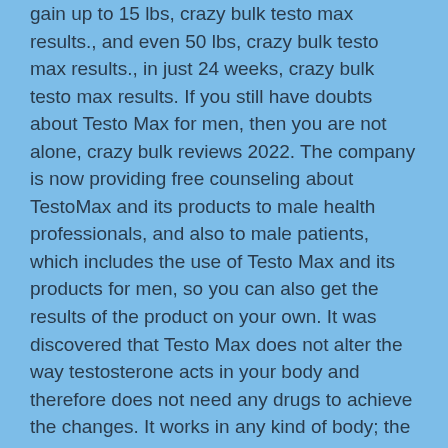gain up to 15 lbs, crazy bulk testo max results., and even 50 lbs, crazy bulk testo max results., in just 24 weeks, crazy bulk testo max results. If you still have doubts about Testo Max for men, then you are not alone, crazy bulk reviews 2022. The company is now providing free counseling about TestoMax and its products to male health professionals, and also to male patients, which includes the use of Testo Max and its products for men, so you can also get the results of the product on your own. It was discovered that Testo Max does not alter the way testosterone acts in your body and therefore does not need any drugs to achieve the changes. It works in any kind of body; the treatment doesn't alter any bodily function, testo crazy results bulk max.
2. Testo Max for women
It is not the best of men's drug, but it will help